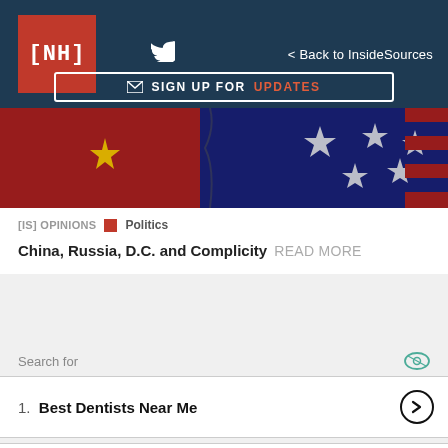[NH] | Twitter | < Back to InsideSources
✉ SIGN UP FOR UPDATES
[Figure (photo): China and USA flags merged/overlaid together, crinkled texture]
[IS] OPINIONS | Politics
China, Russia, D.C. and Complicity READ MORE
Search for
1. Best Dentists Near Me
2. Psoriasis of the Scalp